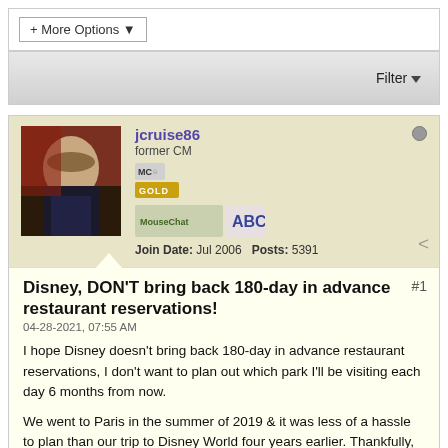[Figure (screenshot): More Options button with dropdown arrow]
[Figure (screenshot): Filter button with dropdown arrow on gray gradient bar]
jcruise86
former CM
Join Date: Jul 2006  Posts: 5391
Disney, DON'T bring back 180-day in advance restaurant reservations!
04-28-2021, 07:55 AM
I hope Disney doesn't bring back 180-day in advance restaurant reservations, I don't want to plan out which park I'll be visiting each day 6 months from now.
We went to Paris in the summer of 2019 & it was less of a hassle to plan than our trip to Disney World four years earlier. Thankfully,